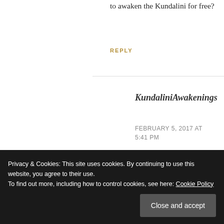to awaken the Kundalini for free?
REPLY
KundaliniAwakenings
FEBRUARY 5, 2017 AT 5:41 PM
Are you referring to the
Privacy & Cookies: This site uses cookies. By continuing to use this website, you agree to their use.
To find out more, including how to control cookies, see here: Cookie Policy
Close and accept